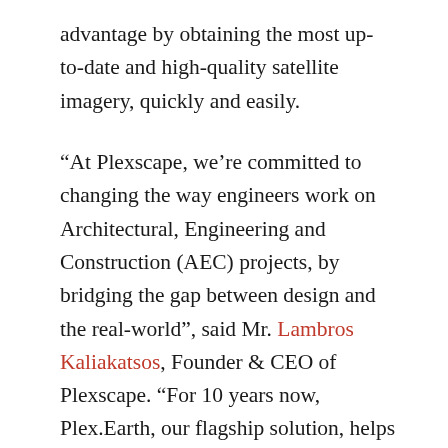advantage by obtaining the most up-to-date and high-quality satellite imagery, quickly and easily.
“At Plexscape, we’re committed to changing the way engineers work on Architectural, Engineering and Construction (AEC) projects, by bridging the gap between design and the real-world”, said Mr. Lambros Kaliakatsos, Founder & CEO of Plexscape. “For 10 years now, Plex.Earth, our flagship solution, helps thousands of engineers around the world to have the complete 3D geographical view of their project area, in every step of their design